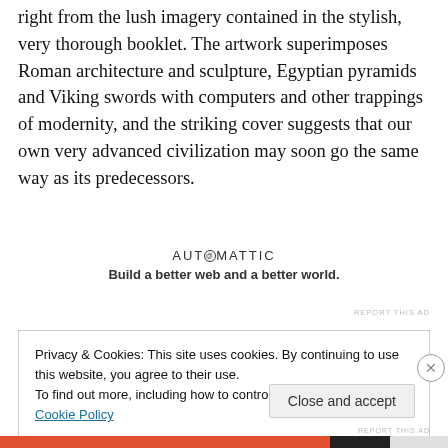right from the lush imagery contained in the stylish, very thorough booklet. The artwork superimposes Roman architecture and sculpture, Egyptian pyramids and Viking swords with computers and other trappings of modernity, and the striking cover suggests that our own very advanced civilization may soon go the same way as its predecessors.
[Figure (other): Automattic advertisement with logo text 'AUTOMATTIC' and tagline 'Build a better web and a better world.']
REPORT THIS AD
Privacy & Cookies: This site uses cookies. By continuing to use this website, you agree to their use.
To find out more, including how to control cookies, see here: Cookie Policy
Close and accept